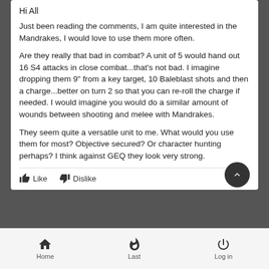Hi All
Just been reading the comments, I am quite interested in the Mandrakes, I would love to use them more often.
Are they really that bad in combat? A unit of 5 would hand out 16 S4 attacks in close combat...that's not bad. I imagine dropping them 9" from a key target, 10 Baleblast shots and then a charge...better on turn 2 so that you can re-roll the charge if needed. I would imagine you would do a similar amount of wounds between shooting and melee with Mandrakes.
They seem quite a versatile unit to me. What would you use them for most? Objective secured? Or character hunting perhaps? I think against GEQ they look very strong.
Home   Last   Log in